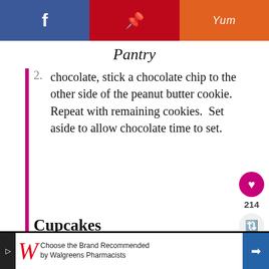Pantry
Using another dollop of the melted chocolate, stick a chocolate chip to the other side of the peanut butter cookie.  Repeat with remaining cookies.  Set aside to allow chocolate time to set.
Cupcakes
Preheat oven to 400 degrees.  Sift the flour and sugar together in a large mixing bowl and set as...
Combine oil, butter, water, and